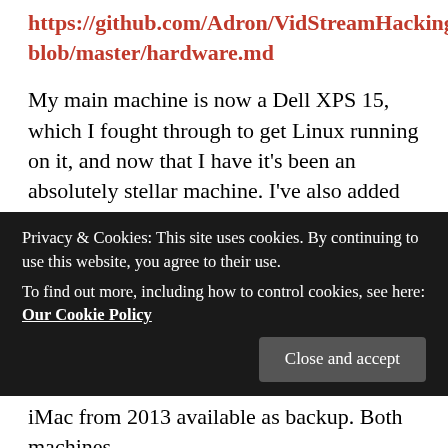https://github.com/Adron/VidStreamHacking/blob/master/hardware.md
My main machine is now a Dell XPS 15, which I fought through to get Linux running on it, and now that I have it's been an absolutely stellar machine. I've also added additional monitor & port replicator/docking station gear to get it even more usable. The actual page I've got the details listed on are in the repo on the Dell XPS 15 item on the hardware page.
Along with the XPS 15 I wrote up coverage of the
Privacy & Cookies: This site uses cookies. By continuing to use this website, you agree to their use.
To find out more, including how to control cookies, see here: Our Cookie Policy
Close and accept
iMac from 2013 available as backup. Both machines